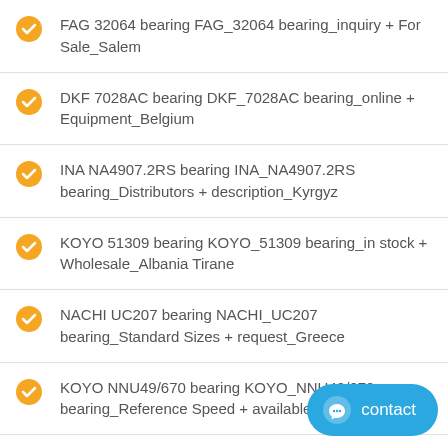FAG 32064 bearing FAG_32064 bearing_inquiry + For Sale_Salem
DKF 7028AC bearing DKF_7028AC bearing_online + Equipment_Belgium
INA NA4907.2RS bearing INA_NA4907.2RS bearing_Distributors + description_Kyrgyz
KOYO 51309 bearing KOYO_51309 bearing_in stock + Wholesale_Albania Tirane
NACHI UC207 bearing NACHI_UC207 bearing_Standard Sizes + request_Greece
KOYO NNU49/670 bearing KOYO_NNU49/670 bearing_Reference Speed + available_Gandhinagar
KOYO 53317U bearing KOYO_53317U bearing_original + Trader_Kulim